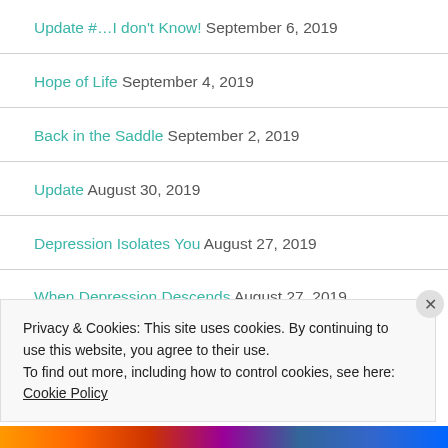Update #…I don't Know! September 6, 2019
Hope of Life September 4, 2019
Back in the Saddle September 2, 2019
Update August 30, 2019
Depression Isolates You August 27, 2019
When Depression Descends August 27, 2019
Privacy & Cookies: This site uses cookies. By continuing to use this website, you agree to their use.
To find out more, including how to control cookies, see here: Cookie Policy
Close and accept